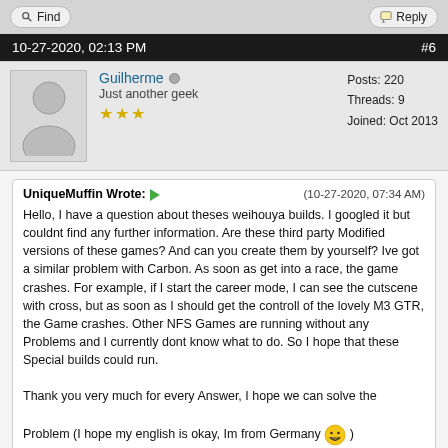Find | Reply
10-27-2020, 02:13 PM  #6
Guilherme  Just another geek  ★★★  Posts: 220  Threads: 9  Joined: Oct 2013
UniqueMuffin Wrote: → (10-27-2020, 07:34 AM)
Hello, I have a question about theses weihouya builds. I googled it but couldnt find any further information. Are these third party Modified versions of these games? And can you create them by yourself? Ive got a similar problem with Carbon. As soon as get into a race, the game crashes. For example, if I start the career mode, I can see the cutscene with cross, but as soon as I should get the controll of the lovely M3 GTR, the Game crashes. Other NFS Games are running without any Problems and I currently dont know what to do. So I hope that these Special builds could run.

Thank you very much for every Answer, I hope we can solve the

Problem (I hope my english is okay, Im from Germany 😁 )
That's actually a custom Dolphin build (AKA Dolphin MMJ). You can check for it here: https://forums.dolphin-emu.org/Thread-share-my...